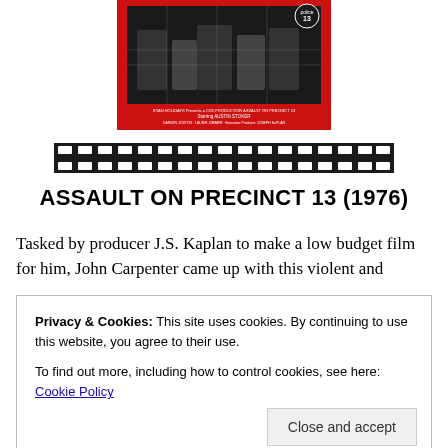[Figure (photo): Movie poster for Assault on Precinct 13 (1976) with red background and film credits at bottom]
[Figure (illustration): Decorative film strip/reel strip graphic, black with white perforations]
ASSAULT ON PRECINCT 13 (1976)
Tasked by producer J.S. Kaplan to make a low budget film for him, John Carpenter came up with this violent and
Privacy & Cookies: This site uses cookies. By continuing to use this website, you agree to their use.
To find out more, including how to control cookies, see here: Cookie Policy
and soon to close ghetto police station, under siege by a